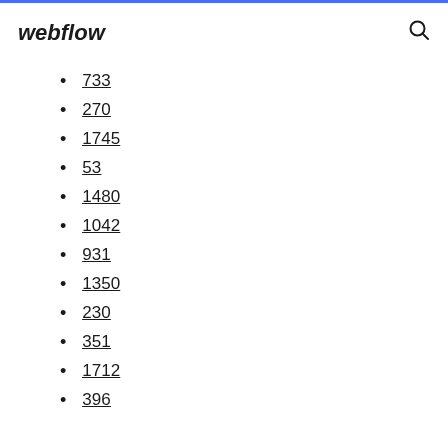webflow
733
270
1745
53
1480
1042
931
1350
230
351
1712
396